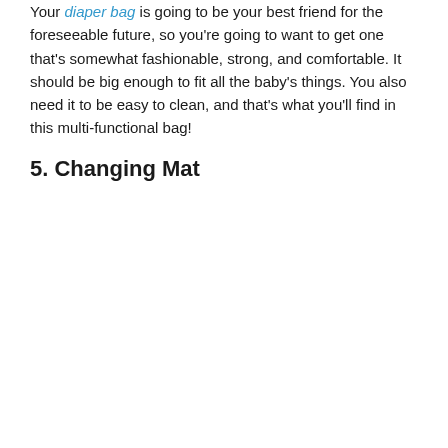Your diaper bag is going to be your best friend for the foreseeable future, so you're going to want to get one that's somewhat fashionable, strong, and comfortable. It should be big enough to fit all the baby's things. You also need it to be easy to clean, and that's what you'll find in this multi-functional bag!
5. Changing Mat